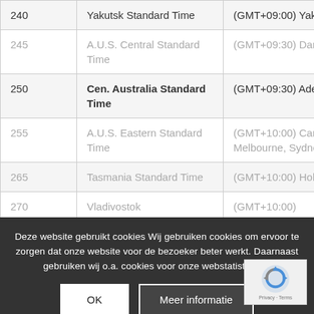|  |  |  |
| --- | --- | --- |
| 240 | Yakutsk Standard Time | (GMT+09:00) Yakutsk |
| 245 | A.U.S. Central Standard Time | (GMT+09:30) Darwin |
| 250 | Cen. Australia Standard Time | (GMT+09:30) Adelaide |
| 255 | A.U.S. Eastern Standard Time | (GMT+10:00) Canberra, Melbourne, Sydney |
| 265 | Tasmania Standard Time | (GMT+10:00) Hobart |
| 270 | Vladivostok | (GMT+10:00) |
Deze website gebruikt cookies Wij gebruiken cookies om ervoor te zorgen dat onze website voor de bezoeker beter werkt. Daarnaast gebruiken wij o.a. cookies voor onze webstatistieken.